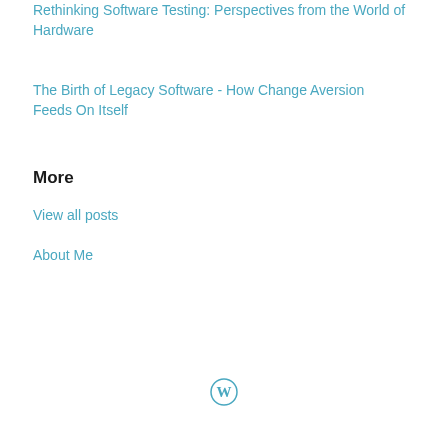Rethinking Software Testing: Perspectives from the World of Hardware
The Birth of Legacy Software - How Change Aversion Feeds On Itself
More
View all posts
About Me
[Figure (logo): WordPress logo - circular W mark in light blue]